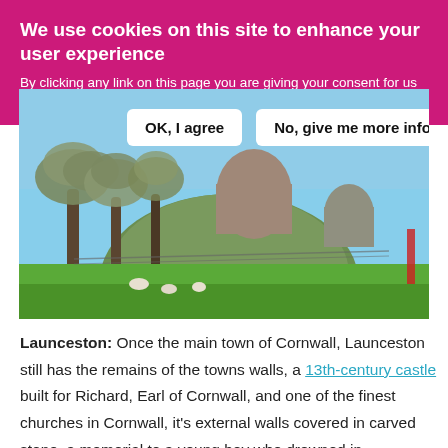We use cookies on this site to enhance your user experience
By clicking any link on this page you are giving your consent for us to set cookies.
[Figure (photo): Cookie consent buttons: 'OK, I agree' and 'No, give me more info' overlaid on a photo of Launceston Castle showing a large grassy motte with stone tower ruins, surrounded by trees, with sheep grazing on the lawn below.]
Launceston: Once the main town of Cornwall, Launceston still has the remains of the towns walls, a 13th-century castle built for Richard, Earl of Cornwall, and one of the finest churches in Cornwall, it's external walls covered in carved stone, a memorial to a young boy who drowned in